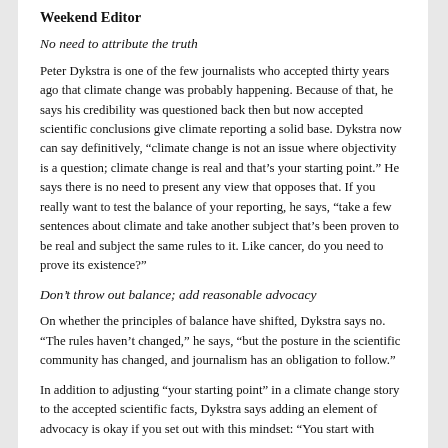Weekend Editor
No need to attribute the truth
Peter Dykstra is one of the few journalists who accepted thirty years ago that climate change was probably happening. Because of that, he says his credibility was questioned back then but now accepted scientific conclusions give climate reporting a solid base. Dykstra now can say definitively, “climate change is not an issue where objectivity is a question; climate change is real and that’s your starting point.” He says there is no need to present any view that opposes that. If you really want to test the balance of your reporting, he says, “take a few sentences about climate and take another subject that’s been proven to be real and subject the same rules to it. Like cancer, do you need to prove its existence?”
Don’t throw out balance; add reasonable advocacy
On whether the principles of balance have shifted, Dykstra says no. “The rules haven’t changed,” he says, “but the posture in the scientific community has changed, and journalism has an obligation to follow.”
In addition to adjusting “your starting point” in a climate change story to the accepted scientific facts, Dykstra says adding an element of advocacy is okay if you set out with this mindset: “You start with